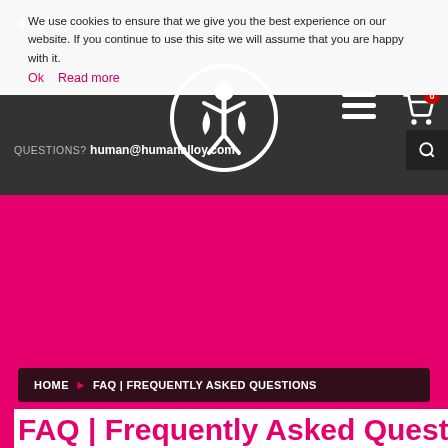We use cookies to ensure that we give you the best experience on our website. If you continue to use this site we will assume that you are happy with it.
Ok   Read more
QUESTIONS? human@humanalloy.com
[Figure (logo): Human Alloy circular logo with figure holding scales, white on dark background]
HOME ▶ FAQ | FREQUENTLY ASKED QUESTIONS
FAQ | Frequently Asked Questions